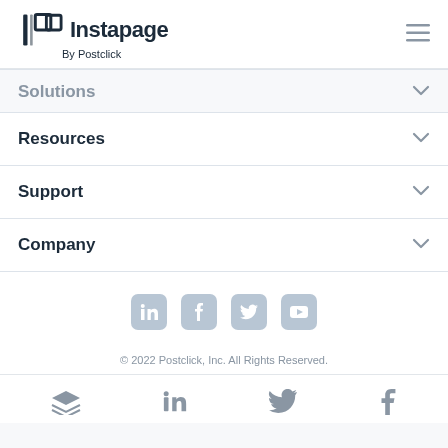[Figure (logo): Instapage logo with icon and 'By Postclick' subtext, plus hamburger menu icon]
Solutions
Resources
Support
Company
[Figure (other): Social media icons: LinkedIn, Facebook, Twitter, YouTube]
© 2022 Postclick, Inc. All Rights Reserved.
[Figure (other): Bottom bar with social/brand icons: Buffer/layers, LinkedIn, Twitter, Facebook]